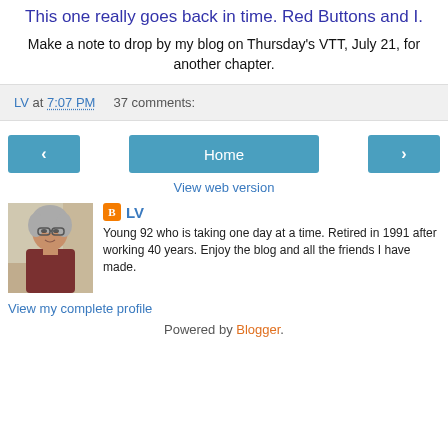This one really goes back in time. Red Buttons and I.
Make a note to drop by my blog on Thursday's VTT, July 21, for another chapter.
LV at 7:07 PM    37 comments:
‹   Home   ›
View web version
[Figure (photo): Profile photo of an elderly woman with grey hair and glasses, wearing a dark red/maroon top]
LV
Young 92 who is taking one day at a time. Retired in 1991 after working 40 years. Enjoy the blog and all the friends I have made.
View my complete profile
Powered by Blogger.